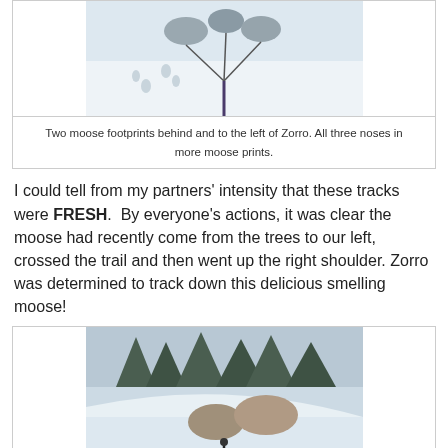[Figure (photo): Overhead view of sled dogs on a snowy trail with moose footprints visible in the snow. Three dogs connected by harness lines pull a sled.]
Two moose footprints behind and to the left of Zorro. All three noses in more moose prints.
I could tell from my partners' intensity that these tracks were FRESH.  By everyone's actions, it was clear the moose had recently come from the trees to our left, crossed the trail and then went up the right shoulder. Zorro was determined to track down this delicious smelling moose!
[Figure (photo): Two sled dogs on a snowy hillside with dense snow-covered trees in the background. One dog is pulling at a leash held by a person.]